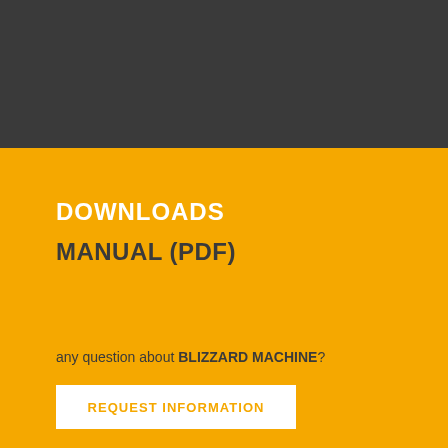DOWNLOADS
MANUAL (PDF)
any question about BLIZZARD MACHINE?
REQUEST INFORMATION